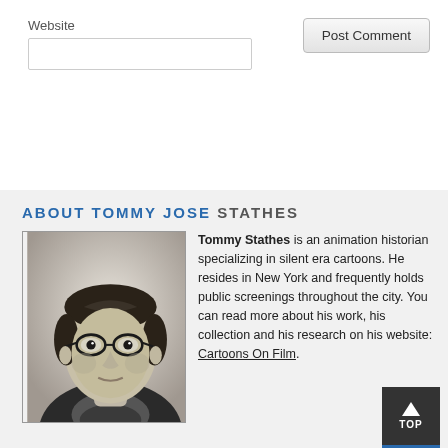Website
Post Comment
ABOUT TOMMY JOSE STATHES
[Figure (photo): Black and white photograph of Tommy Stathes, a man with glasses and dark hair, wearing a patterned shirt and jacket]
Tommy Stathes is an animation historian specializing in silent era cartoons. He resides in New York and frequently holds public screenings throughout the city. You can read more about his work, his collection and his research on his website: Cartoons On Film.